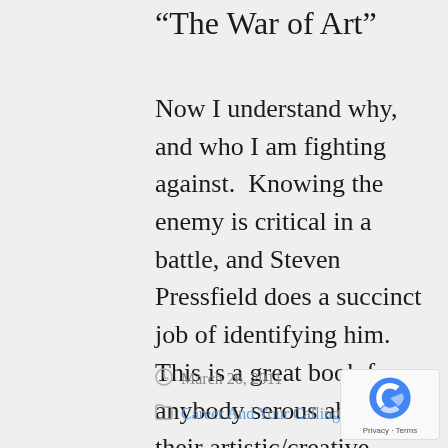“The War of Art”
Now I understand why, and who I am fighting against.  Knowing the enemy is critical in a battle, and Steven Pressfield does a succinct job of identifying him.  This is a great book for anybody serous about their artistic/creative pursuit, be it painting, sculpture, writing, music, theater, photography, etc.    ...
March 26, 2011
Career And Your Calling /